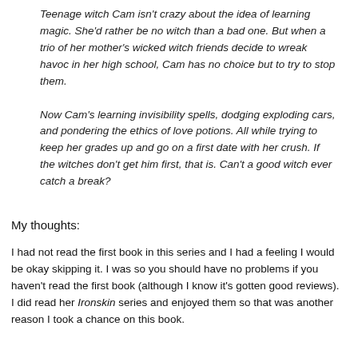Teenage witch Cam isn't crazy about the idea of learning magic. She'd rather be no witch than a bad one. But when a trio of her mother's wicked witch friends decide to wreak havoc in her high school, Cam has no choice but to try to stop them.

Now Cam's learning invisibility spells, dodging exploding cars, and pondering the ethics of love potions. All while trying to keep her grades up and go on a first date with her crush. If the witches don't get him first, that is. Can't a good witch ever catch a break?
My thoughts:
I had not read the first book in this series and I had a feeling I would be okay skipping it. I was so you should have no problems if you haven't read the first book (although I know it's gotten good reviews).  I did read her Ironskin series and enjoyed them so that was another reason I took a chance on this book. (review continues below)